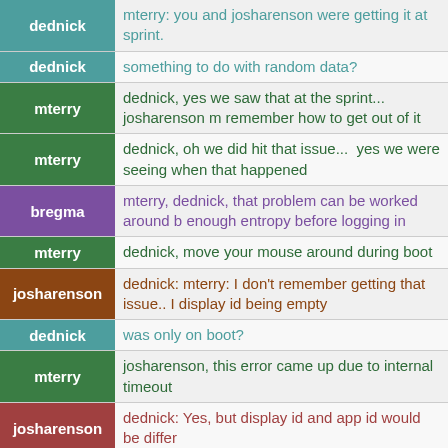dednick: mterry: you and josharenson were getting it at sprint.
dednick: something to do with random data?
mterry: dednick, yes we saw that at the sprint...  josharenson might remember how to get out of it
mterry: dednick, oh we did hit that issue...  yes we were seeing it when that happened
bregma: mterry, dednick, that problem can be worked around by getting enough entropy before logging in
mterry: dednick, move your mouse around during boot
josharenson: dednick: mterry: I don't remember getting that issue.. I remember display id being empty
dednick: was only on boot?
mterry: josharenson, this error came up due to internal timeout
josharenson: dednick: Yes, but display id and app id would be differ
flux__: faenil, apt-get install pastebinit
mterry: dednick, we only saw it on boot, but just because we w a lot.  Could happen anytime
josharenson: ah, I actually caught up reading...
dednick: faenil: you tried moving mouse around when starting?
faenil: dednick: yep
faenil: flux__: thanks!